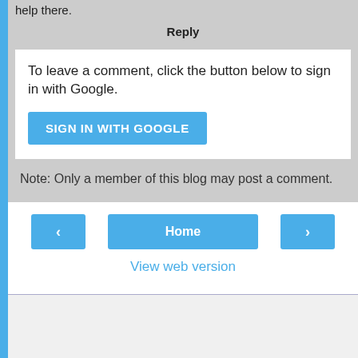help there.
Reply
To leave a comment, click the button below to sign in with Google.
SIGN IN WITH GOOGLE
Note: Only a member of this blog may post a comment.
‹
Home
›
View web version